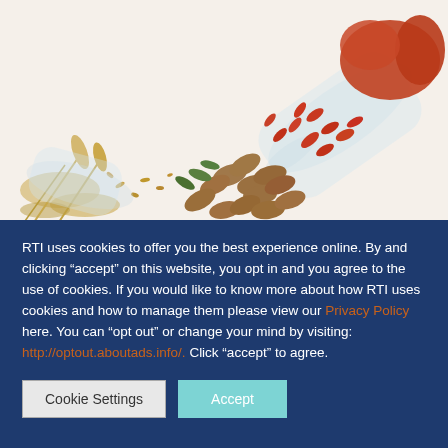[Figure (photo): A glass jar tipped over on a white surface spilling red goji berries, almonds, seeds, and grains, with other glass jars visible in the background.]
RTI uses cookies to offer you the best experience online. By and clicking “accept” on this website, you opt in and you agree to the use of cookies. If you would like to know more about how RTI uses cookies and how to manage them please view our Privacy Policy here. You can “opt out” or change your mind by visiting: http://optout.aboutads.info/. Click “accept” to agree.
Cookie Settings
Accept